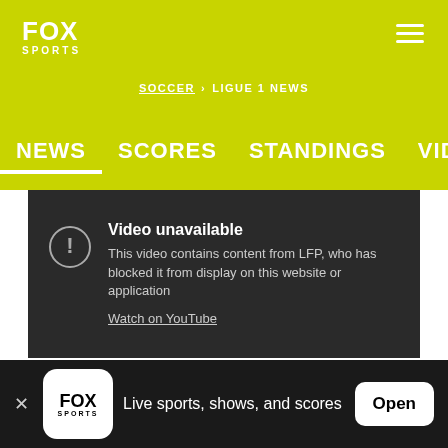FOX SPORTS
SOCCER > LIGUE 1 NEWS
NEWS   SCORES   STANDINGS   VIDEOS   ODDS
[Figure (screenshot): Video unavailable message on dark background: 'This video contains content from LFP, who has blocked it from display on this website or application. Watch on YouTube']
Live sports, shows, and scores  Open